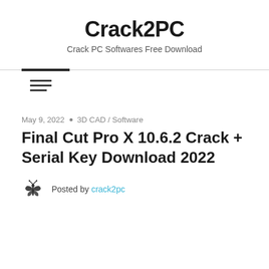Crack2PC
Crack PC Softwares Free Download
May 9, 2022 • 3D CAD / Software
Final Cut Pro X 10.6.2 Crack + Serial Key Download 2022
Posted by crack2pc